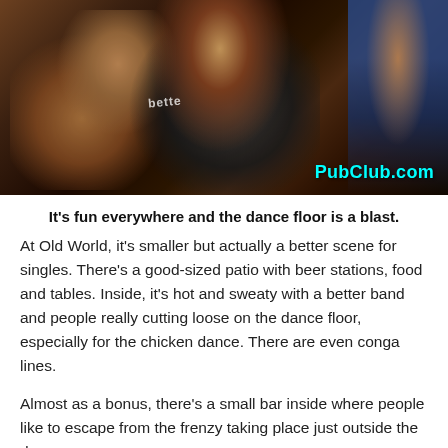[Figure (photo): Photo of women dancing energetically at a bar/club event. One woman wearing a 'bachelorette' tank top is prominent. A 'PubClub.com' watermark appears in the lower right corner in cyan text.]
It's fun everywhere and the dance floor is a blast.
At Old World, it's smaller but actually a better scene for singles. There's a good-sized patio with beer stations, food and tables. Inside, it's hot and sweaty with a better band and people really cutting loose on the dance floor, especially for the chicken dance. There are even conga lines.
Almost as a bonus, there's a small bar inside where people like to escape from the frenzy taking place just outside the door.